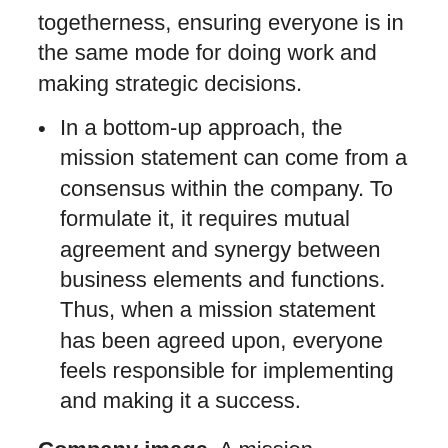togetherness, ensuring everyone is in the same mode for doing work and making strategic decisions.
In a bottom-up approach, the mission statement can come from a consensus within the company. To formulate it, it requires mutual agreement and synergy between business elements and functions. Thus, when a mission statement has been agreed upon, everyone feels responsible for implementing and making it a success.
Company image. A mission statement is an important element in building your company's image. It helps the company form an identity by